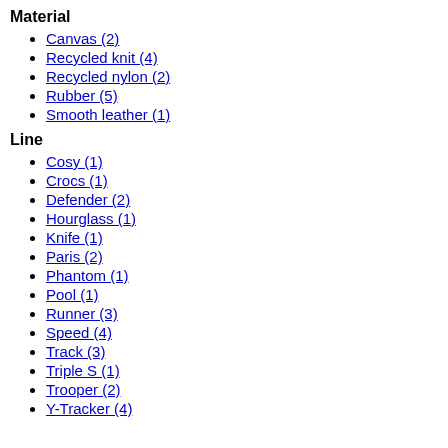Material
Canvas (2)
Recycled knit (4)
Recycled nylon (2)
Rubber (5)
Smooth leather (1)
Line
Cosy (1)
Crocs (1)
Defender (2)
Hourglass (1)
Knife (1)
Paris (2)
Phantom (1)
Pool (1)
Runner (3)
Speed (4)
Track (3)
Triple S (1)
Trooper (2)
Y-Tracker (4)